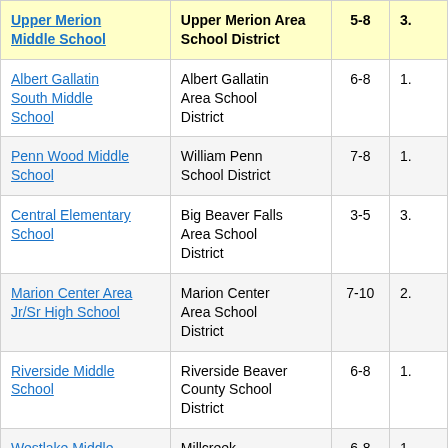| School | District | Grades |  |
| --- | --- | --- | --- |
| Upper Merion Middle School | Upper Merion Area School District | 5-8 | 3. |
| Albert Gallatin South Middle School | Albert Gallatin Area School District | 6-8 | 1. |
| Penn Wood Middle School | William Penn School District | 7-8 | 1. |
| Central Elementary School | Big Beaver Falls Area School District | 3-5 | 3. |
| Marion Center Area Jr/Sr High School | Marion Center Area School District | 7-10 | 2. |
| Riverside Middle School | Riverside Beaver County School District | 6-8 | 1. |
| Westlake Middle School | Millcreek Township School District | 6-8 | 1. |